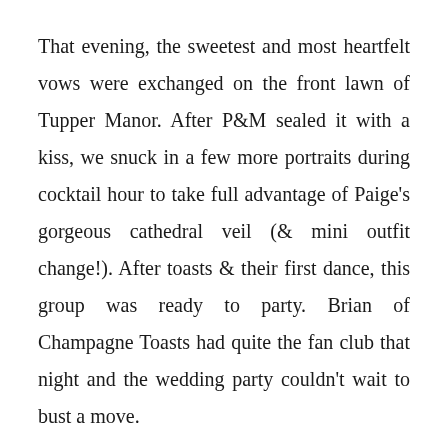That evening, the sweetest and most heartfelt vows were exchanged on the front lawn of Tupper Manor. After P&M sealed it with a kiss, we snuck in a few more portraits during cocktail hour to take full advantage of Paige's gorgeous cathedral veil (& mini outfit change!). After toasts & their first dance, this group was ready to party. Brian of Champagne Toasts had quite the fan club that night and the wedding party couldn't wait to bust a move.

Congratulations, Mr. & Mrs. Walker! I couldn't be more excited for the two of you and can't wait to